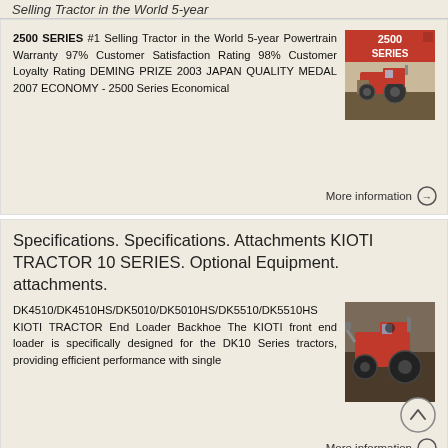Selling Tractor in the World 5-year
2500 SERIES #1 Selling Tractor in the World 5-year Powertrain Warranty 97% Customer Satisfaction Rating 98% Customer Loyalty Rating DEMING PRIZE 2003 JAPAN QUALITY MEDAL 2007 ECONOMY - 2500 Series Economical
[Figure (photo): 2500 SERIES red branded tractor image with red background]
Specifications. Specifications. Attachments KIOTI TRACTOR 10 SERIES. Optional Equipment. attachments.
DK4510/DK4510HS/DK5010/DK5010HS/DK5510/DK5510HS KIOTI TRACTOR End Loader Backhoe The KIOTI front end loader is specifically designed for the DK10 Series tractors, providing efficient performance with single
[Figure (photo): KIOTI tractor with front end loader backhoe attachment in field]